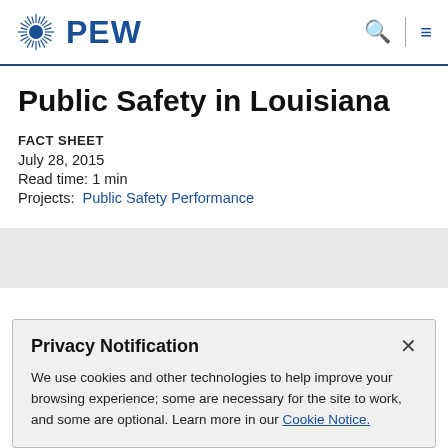PEW
Public Safety in Louisiana
FACT SHEET
July 28, 2015
Read time: 1 min
Projects: Public Safety Performance
Privacy Notification

We use cookies and other technologies to help improve your browsing experience; some are necessary for the site to work, and some are optional. Learn more in our Cookie Notice.